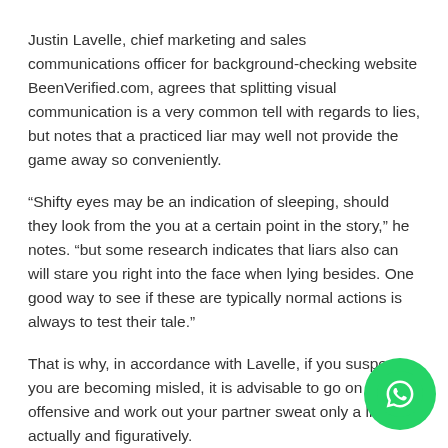Justin Lavelle, chief marketing and sales communications officer for background-checking website BeenVerified.com, agrees that splitting visual communication is a very common tell with regards to lies, but notes that a practiced liar may well not provide the game away so conveniently.
“Shifty eyes may be an indication of sleeping, should they look from the you at a certain point in the story,” he notes. “but some research indicates that liars also can will stare you right into the face when lying besides. One good way to see if these are typically normal actions is always to test their tale.”
That is why, in accordance with Lavelle, if you suspect you are becoming misled, it is advisable to go on the offensive and work out your partner sweat only a little â actually and figuratively.
“Ask a question about a particular information and view how respond,” the guy proposes. “A liar are going to have one or
[Figure (logo): WhatsApp icon button — green circle with white phone/chat icon]